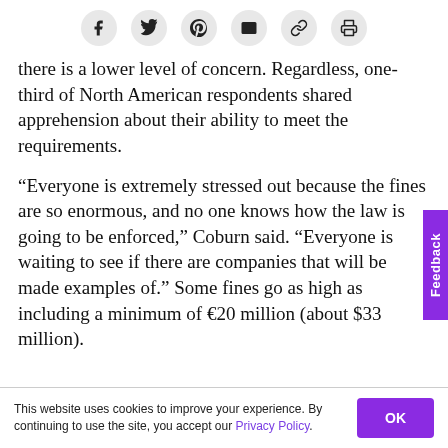[Social share icons: Facebook, Twitter, Pinterest, Email, Link, Print]
there is a lower level of concern. Regardless, one-third of North American respondents shared apprehension about their ability to meet the requirements.
“Everyone is extremely stressed out because the fines are so enormous, and no one knows how the law is going to be enforced,” Coburn said. “Everyone is waiting to see if there are companies that will be made examples of.” Some fines go as high as including a minimum of €20 million (about $33 million).
This website uses cookies to improve your experience. By continuing to use the site, you accept our Privacy Policy.